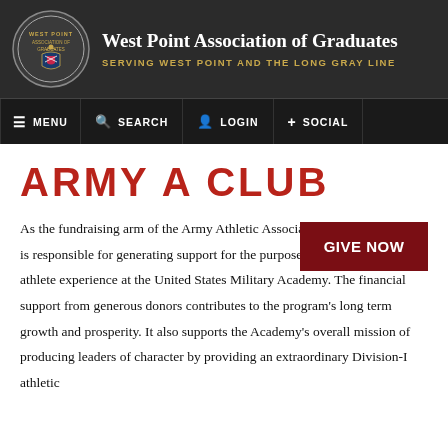West Point Association of Graduates — SERVING WEST POINT AND THE LONG GRAY LINE
[Figure (logo): West Point Association of Graduates circular seal/crest in dark background header]
ARMY A CLUB
As the fundraising arm of the Army Athletic Association, the Army A Club is responsible for generating support for the purpose of enriching the cadet- athlete experience at the United States Military Academy. The financial support from generous donors contributes to the program's long term growth and prosperity. It also supports the Academy's overall mission of producing leaders of character by providing an extraordinary Division-I athletic
GIVE NOW